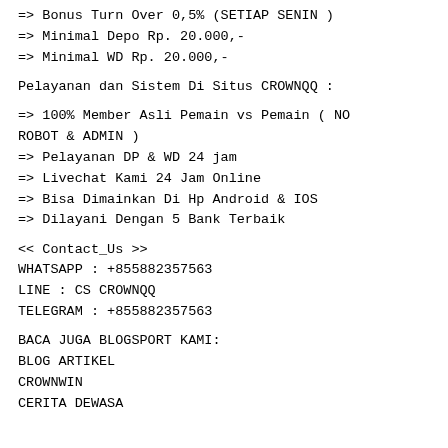=> Bonus Turn Over 0,5% (SETIAP SENIN )
=> Minimal Depo Rp. 20.000,-
=> Minimal WD Rp. 20.000,-
Pelayanan dan Sistem Di Situs CROWNQQ :
=> 100% Member Asli Pemain vs Pemain ( NO ROBOT & ADMIN )
=> Pelayanan DP & WD 24 jam
=> Livechat Kami 24 Jam Online
=> Bisa Dimainkan Di Hp Android & IOS
=> Dilayani Dengan 5 Bank Terbaik
<< Contact_Us >>
WHATSAPP : +855882357563
LINE : CS CROWNQQ
TELEGRAM : +855882357563
BACA JUGA BLOGSPORT KAMI:
BLOG ARTIKEL
CROWNWIN
CERITA DEWASA